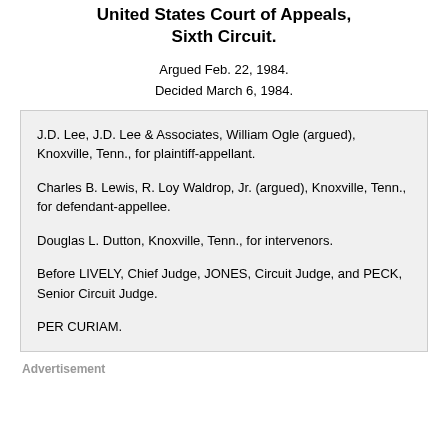United States Court of Appeals, Sixth Circuit.
Argued Feb. 22, 1984.
Decided March 6, 1984.
J.D. Lee, J.D. Lee & Associates, William Ogle (argued), Knoxville, Tenn., for plaintiff-appellant.

Charles B. Lewis, R. Loy Waldrop, Jr. (argued), Knoxville, Tenn., for defendant-appellee.

Douglas L. Dutton, Knoxville, Tenn., for intervenors.

Before LIVELY, Chief Judge, JONES, Circuit Judge, and PECK, Senior Circuit Judge.

PER CURIAM.
Advertisement